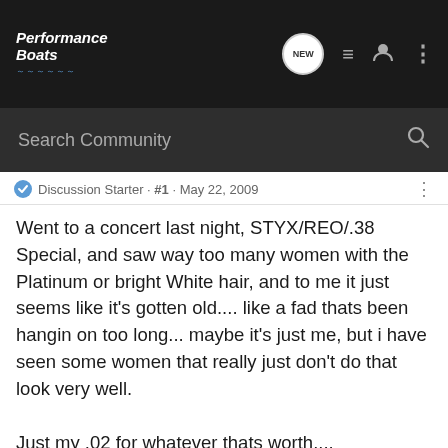[Figure (screenshot): Performance Boats forum navigation bar with logo, NEW chat bubble icon, list icon, user icon, and three-dots menu icon]
[Figure (screenshot): Search Community search bar with magnifying glass icon on dark background]
Discussion Starter · #1 · May 22, 2009
Went to a concert last night, STYX/REO/.38 Special, and saw way too many women with the Platinum or bright White hair, and to me it just seems like it's gotten old.... like a fad thats been hangin on too long... maybe it's just me, but i have seen some women that really just don't do that look very well.

Just my .02 for whatever thats worth....
AzEliminator · Registered
Joined Mar 25, 2008 · 716 Posts